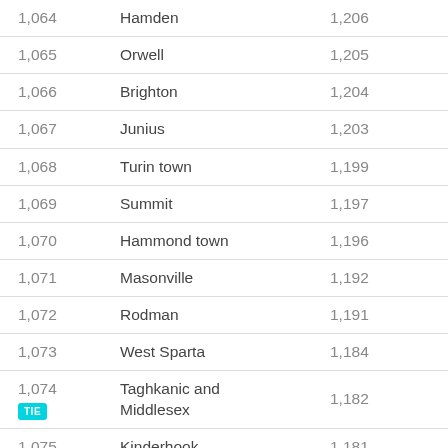| Rank | Name | Population |
| --- | --- | --- |
| 1,064 | Hamden | 1,206 |
| 1,065 | Orwell | 1,205 |
| 1,066 | Brighton | 1,204 |
| 1,067 | Junius | 1,203 |
| 1,068 | Turin town | 1,199 |
| 1,069 | Summit | 1,197 |
| 1,070 | Hammond town | 1,196 |
| 1,071 | Masonville | 1,192 |
| 1,072 | Rodman | 1,191 |
| 1,073 | West Sparta | 1,184 |
| 1,074 TIE | Taghkanic and Middlesex | 1,182 |
| 1,075 | Kinderhook | 1,181 |